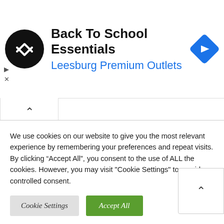[Figure (screenshot): Ad banner with black circular logo with double arrow symbol, text 'Back To School Essentials' and 'Leesburg Premium Outlets' in blue, and a blue diamond navigation icon on the right]
We use cookies on our website to give you the most relevant experience by remembering your preferences and repeat visits. By clicking “Accept All”, you consent to the use of ALL the cookies. However, you may visit "Cookie Settings" to provide a controlled consent.
Cookie Settings | Accept All